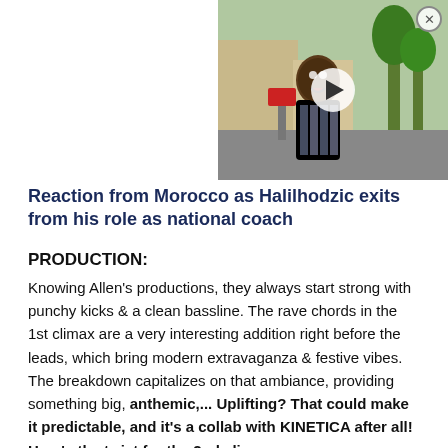[Figure (screenshot): Video thumbnail showing a man standing outdoors near a street with trees and buildings in background, with a white play button overlay in the center and a close (X) button in the top-right corner.]
Reaction from Morocco as Halilhodzic exits from his role as national coach
PRODUCTION:
Knowing Allen's productions, they always start strong with punchy kicks & a clean bassline. The rave chords in the 1st climax are a very interesting addition right before the leads, which bring modern extravaganza & festive vibes. The breakdown capitalizes on that ambiance, providing something big, anthemic,... Uplifting? That could make it predictable, and it's a collab with KINETICA after all! Here's the twist for the 2nd climax: